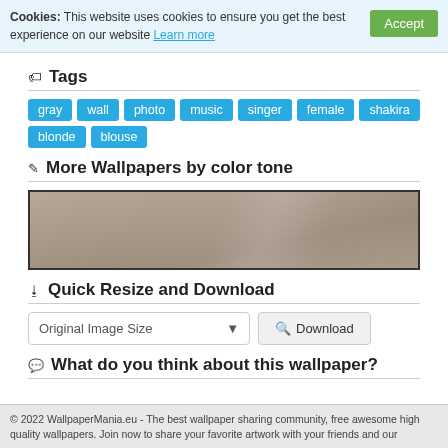Cookies: This website uses cookies to ensure you get the best experience on our website Learn more Accept
Tags
gray
wall
photo
music
singer
female
shakira
blonde
blouse
More Wallpapers by color tone
[Figure (illustration): A horizontal color swatch showing a warm gray/taupe tone with a subtle diagonal shine highlight.]
Quick Resize and Download
Original Image Size  ▾    Download
What do you think about this wallpaper?
© 2022 WallpaperMania.eu - The best wallpaper sharing community, free awesome high quality wallpapers. Join now to share your favorite artwork with your friends and our